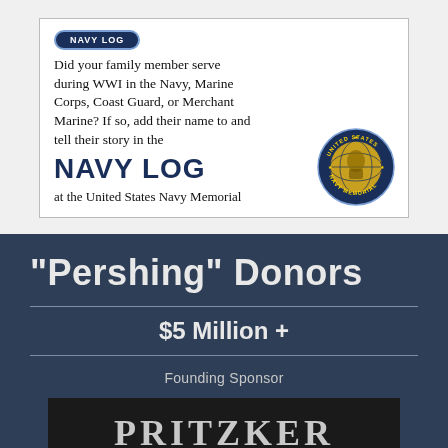[Figure (illustration): Navy Log advertisement box with Navy Log badge/logo at top, text about WWI service, large NAVY LOG text in blue, and United States Navy Memorial seal on the right]
"Pershing" Donors
$5 Million +
Founding Sponsor
[Figure (logo): Pritzker logo on dark background, text reads PRITZKER]